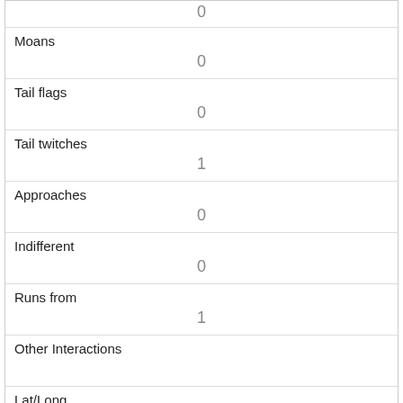| 0 |
| Moans | 0 |
| Tail flags | 0 |
| Tail twitches | 1 |
| Approaches | 0 |
| Indifferent | 0 |
| Runs from | 1 |
| Other Interactions |  |
| Lat/Long | POINT (-73.9662438996681 40.7890381809441) |
| Link | 37 |
| rowid |  |